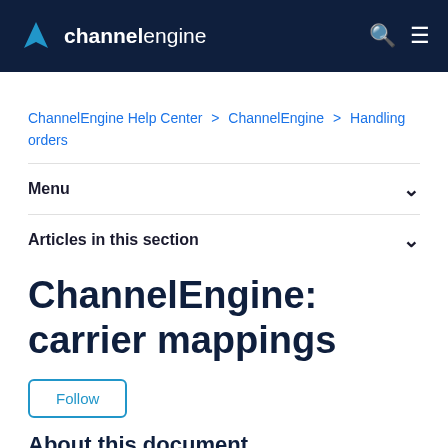channelengine
ChannelEngine Help Center > ChannelEngine > Handling orders
Menu
Articles in this section
ChannelEngine: carrier mappings
Follow
About this document